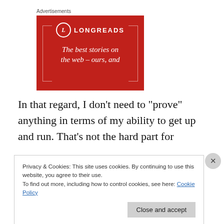Advertisements
[Figure (illustration): Longreads advertisement on red background with logo, decorative brackets, and tagline 'The best stories on the web – ours, and']
In that regard, I don't need to “prove” anything in terms of my ability to get up and run. That’s not the hard part for
Privacy & Cookies: This site uses cookies. By continuing to use this website, you agree to their use.
To find out more, including how to control cookies, see here: Cookie Policy